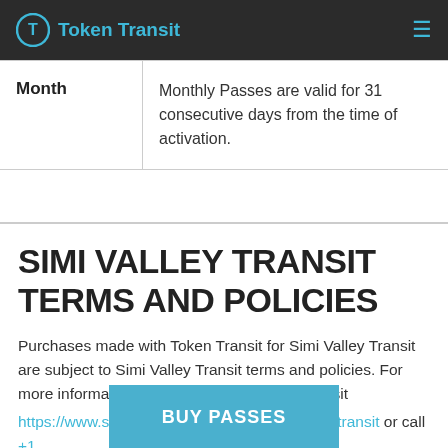Token Transit
| Month | Monthly Passes are valid for 31 consecutive days from the time of activation. |
SIMI VALLEY TRANSIT TERMS AND POLICIES
Purchases made with Token Transit for Simi Valley Transit are subject to Simi Valley Transit terms and policies. For more information on these policies you may visit https://www.simivalley.org/services/simi-valley-transit or call +1